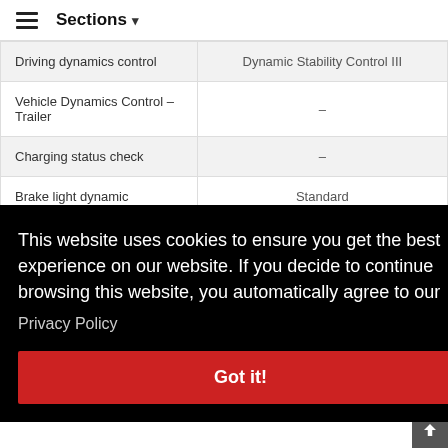Sections
| Feature | Value |
| --- | --- |
| Driving dynamics control | Dynamic Stability Control III |
| Vehicle Dynamics Control – Trailer | – |
| Charging status check | – |
| Brake light dynamic | Standard |
This website uses cookies to ensure you get the best experience on our website. If you decide to continue browsing this website, you automatically agree to our Privacy Policy
Got it!